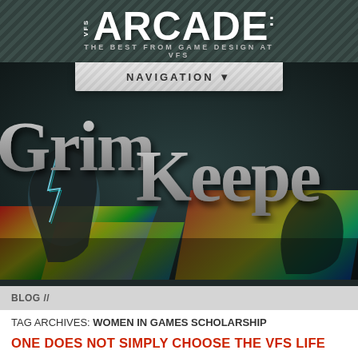VFS ARCADE — THE BEST FROM GAME DESIGN AT VFS
NAVIGATION ▼
[Figure (screenshot): Grim Keeper game logo — large stone-textured 3D letters 'Grim Keeper' over a dark fantasy scene with colorful characters and lightning effects]
BLOG //
TAG ARCHIVES: WOMEN IN GAMES SCHOLARSHIP
ONE DOES NOT SIMPLY CHOOSE THE VFS LIFE